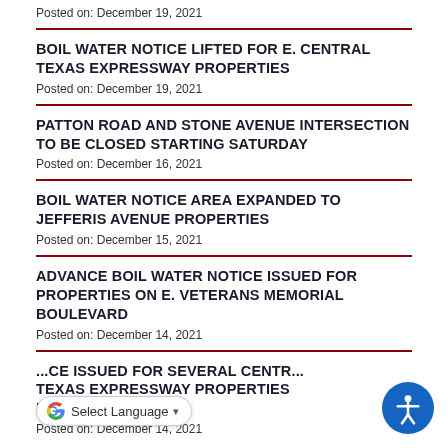Posted on: December 19, 2021
BOIL WATER NOTICE LIFTED FOR E. CENTRAL TEXAS EXPRESSWAY PROPERTIES
Posted on: December 19, 2021
PATTON ROAD AND STONE AVENUE INTERSECTION TO BE CLOSED STARTING SATURDAY
Posted on: December 16, 2021
BOIL WATER NOTICE AREA EXPANDED TO JEFFERIS AVENUE PROPERTIES
Posted on: December 15, 2021
ADVANCE BOIL WATER NOTICE ISSUED FOR PROPERTIES ON E. VETERANS MEMORIAL BOULEVARD
Posted on: December 14, 2021
...CE ISSUED FOR SEVERAL CENTR... TEXAS EXPRESSWAY PROPERTIES BEGINNING DEC. 15
Posted on: December 14, 2021